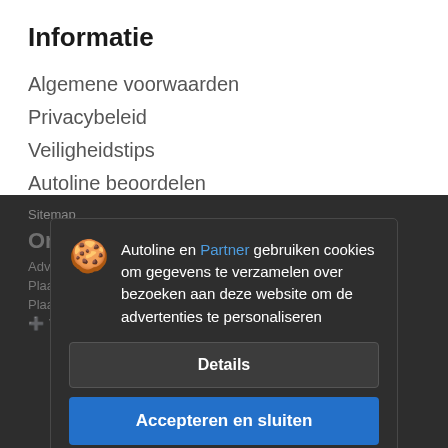Informatie
Algemene voorwaarden
Privacybeleid
Veiligheidstips
Autoline beoordelen
Sitemap
Onze aanbiedingen
Adverteer op Autoline
Plaats uw advertentie
Plaats een banner
Autoline en Partner gebruiken cookies om gegevens te verzamelen over bezoeken aan deze website om de advertenties te personaliseren
Details
Accepteren en sluiten
Voeg uw bedrijf toe